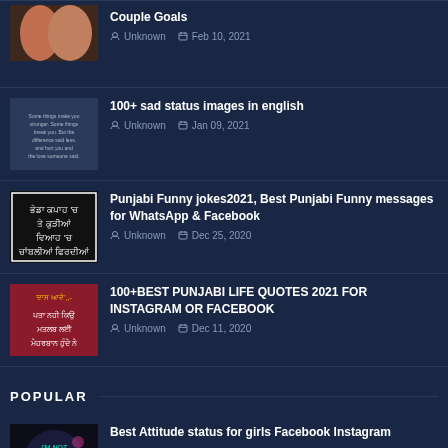Couple Goals — Unknown, Feb 10, 2021
100+ sad status images in english — Unknown, Jan 09, 2021
Punjabi Funny jokes2021, Best Punjabi Funny messages for WhatsApp & Facebook — Unknown, Dec 25, 2020
100+BEST PUNJABI LIFE QUOTES 2021 FOR INSTAGRAM OR FACEBOOK — Unknown, Dec 11, 2020
POPULAR
Best Attitude status for girls Facebook Instagram